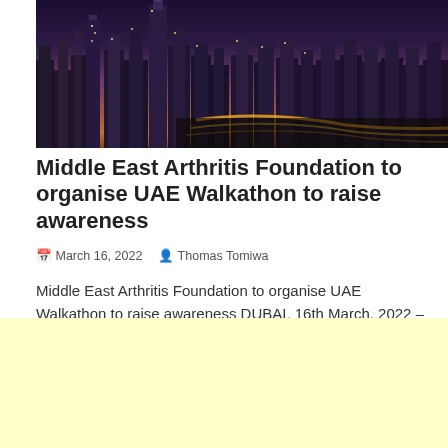[Figure (photo): Aerial night photo of Dubai city skyline with glowing skyscrapers and highway light trails against a purple-blue twilight sky]
Middle East Arthritis Foundation to organise UAE Walkathon to raise awareness
March 16, 2022   Thomas Tomiwa
Middle East Arthritis Foundation to organise UAE Walkathon to raise awareness DUBAI, 16th March, 2022 – The Middle East Arthritis Foundation (MEAF)
[Figure (other): Light yellow advertisement placeholder box]